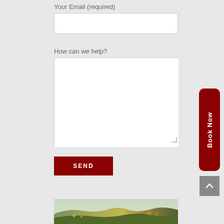Your Email (required)
[Figure (other): Email input field (empty white text box)]
How can we help?
[Figure (other): Large multi-line textarea for message input, empty white box with resize handle]
[Figure (other): SEND button, dark red/maroon background with white SEND text]
[Figure (other): Book Now vertical button on right side, dark red rounded rectangle with white vertical text]
[Figure (other): Scroll to top button, grey square with upward chevron arrow]
[Figure (photo): Landscape photo of rolling hills with vegetation, greenish-brown tones]